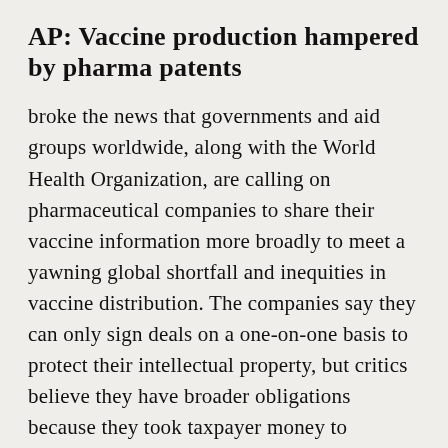AP: Vaccine production hampered by pharma patents
broke the news that governments and aid groups worldwide, along with the World Health Organization, are calling on pharmaceutical companies to share their vaccine information more broadly to meet a yawning global shortfall and inequities in vaccine distribution. The companies say they can only sign deals on a one-on-one basis to protect their intellectual property, but critics believe they have broader obligations because they took taxpayer money to develop the vaccines. The London-based correspondents found three